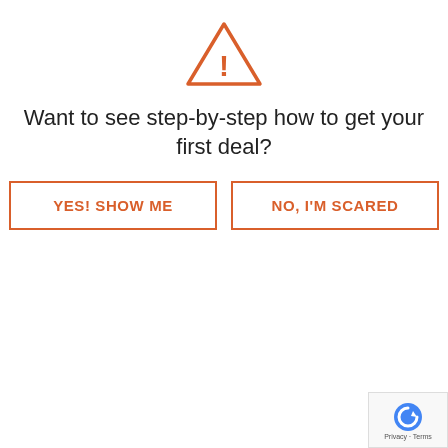[Figure (illustration): Orange warning triangle icon with exclamation mark]
Want to see step-by-step how to get your first deal?
YES! SHOW ME
NO, I'M SCARED
buying. So if someone's buying in one zip code, if the investors are buying let's say in the last six months there's 50 cash sales in that area where investors bought the houses, and then there's another zip code where there's only two cash sales. I'm probably going to lean more towards the zip code with the 50 cash sales because I know that from the numbers it shows that people are wanting to invest in those areas. So